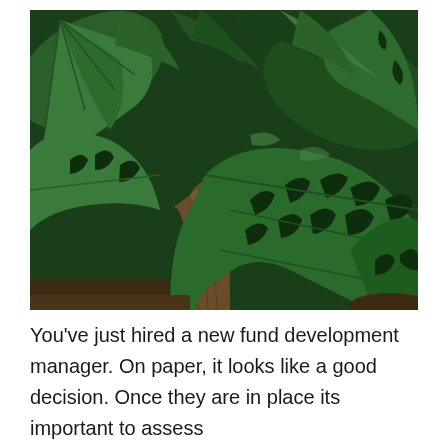[Figure (photo): Close-up photograph of large tropical Monstera deliciosa leaves with characteristic splits and holes, growing around a tree trunk, in a lush green setting]
You've just hired a new fund development manager. On paper, it looks like a good decision. Once they are in place its important to assess